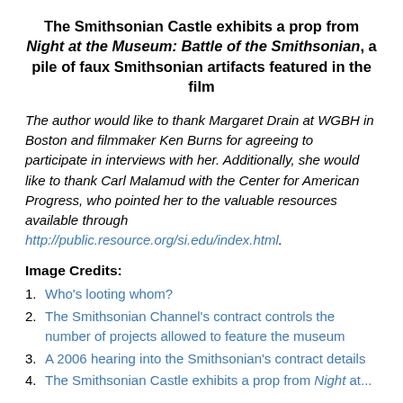The Smithsonian Castle exhibits a prop from Night at the Museum: Battle of the Smithsonian, a pile of faux Smithsonian artifacts featured in the film
The author would like to thank Margaret Drain at WGBH in Boston and filmmaker Ken Burns for agreeing to participate in interviews with her. Additionally, she would like to thank Carl Malamud with the Center for American Progress, who pointed her to the valuable resources available through http://public.resource.org/si.edu/index.html.
Image Credits:
1. Who's looting whom?
2. The Smithsonian Channel's contract controls the number of projects allowed to feature the museum
3. A 2006 hearing into the Smithsonian's contract details
4. The Smithsonian Castle exhibits a prop from Night at...